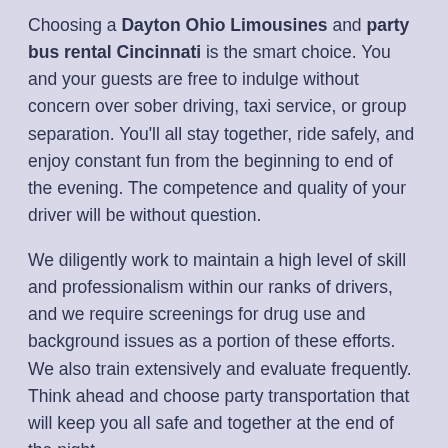Choosing a Dayton Ohio Limousines and party bus rental Cincinnati is the smart choice. You and your guests are free to indulge without concern over sober driving, taxi service, or group separation. You'll all stay together, ride safely, and enjoy constant fun from the beginning to end of the evening. The competence and quality of your driver will be without question.
We diligently work to maintain a high level of skill and professionalism within our ranks of drivers, and we require screenings for drug use and background issues as a portion of these efforts. We also train extensively and evaluate frequently. Think ahead and choose party transportation that will keep you all safe and together at the end of the night.
Quality Transportation on the